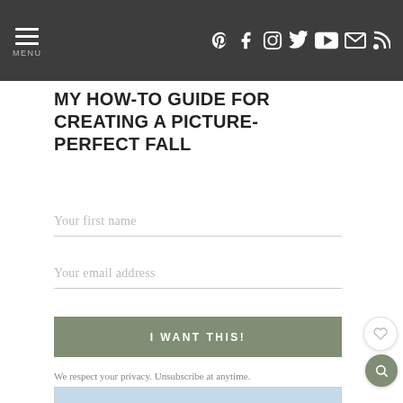MENU | Social icons: Pinterest, Facebook, Instagram, Twitter, YouTube, Email, RSS
MY HOW-TO GUIDE FOR CREATING A PICTURE-PERFECT FALL
Your first name
Your email address
I WANT THIS!
We respect your privacy. Unsubscribe at anytime.
[Figure (other): Advertisement banner: Bring it Back to School, H&M]